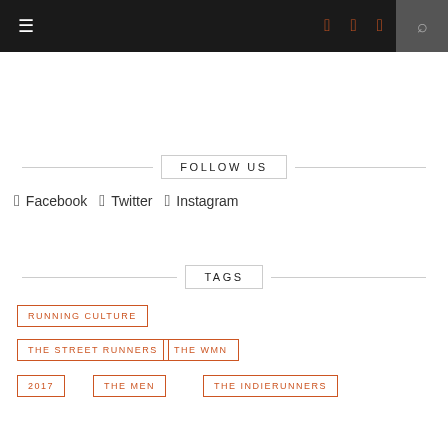≡   f  🐦  📷  🔍
FOLLOW US
f Facebook  🐦 Twitter  📷 Instagram
TAGS
RUNNING CULTURE
THE STREET RUNNERS
THE WMN
2017
THE MEN
THE INDIERUNNERS